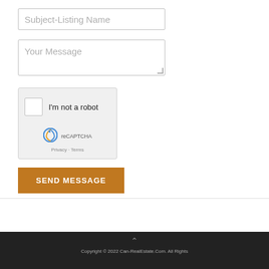[Figure (screenshot): Input field with placeholder text 'Subject-Listing Name']
[Figure (screenshot): Textarea field with placeholder text 'Your Message']
[Figure (screenshot): reCAPTCHA widget with checkbox 'I'm not a robot', reCAPTCHA logo, Privacy and Terms links]
[Figure (screenshot): Orange 'SEND MESSAGE' button]
Copyright © 2022 Can-RealEstate.Com. All Rights